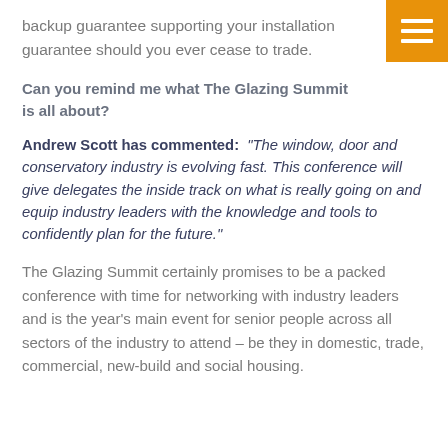backup guarantee supporting your installation guarantee should you ever cease to trade.
Can you remind me what The Glazing Summit is all about?
Andrew Scott has commented: “The window, door and conservatory industry is evolving fast. This conference will give delegates the inside track on what is really going on and equip industry leaders with the knowledge and tools to confidently plan for the future.”
The Glazing Summit certainly promises to be a packed conference with time for networking with industry leaders and is the year’s main event for senior people across all sectors of the industry to attend – be they in domestic, trade, commercial, new-build and social housing.